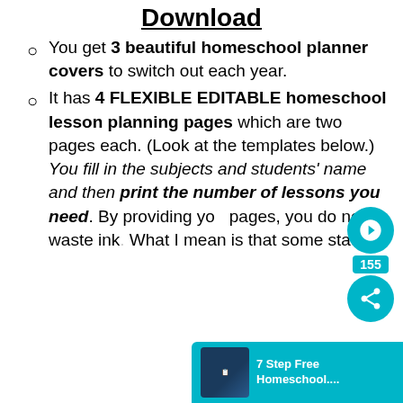Download
You get 3 beautiful homeschool planner covers to switch out each year.
It has 4 FLEXIBLE EDITABLE homeschool lesson planning pages which are two pages each. (Look at the templates below.) You fill in the subjects and students' name and then print the number of lessons you need. By providing you pages, you do not waste ink. What I mean is that some states